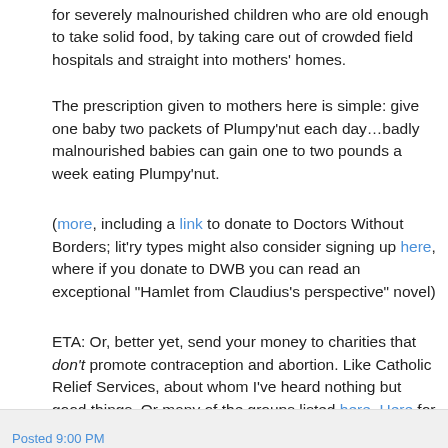for severely malnourished children who are old enough to take solid food, by taking care out of crowded field hospitals and straight into mothers' homes.
The prescription given to mothers here is simple: give one baby two packets of Plumpy'nut each day…badly malnourished babies can gain one to two pounds a week eating Plumpy'nut.
(more, including a link to donate to Doctors Without Borders; lit'ry types might also consider signing up here, where if you donate to DWB you can read an exceptional "Hamlet from Claudius's perspective" novel)
ETA: Or, better yet, send your money to charities that don't promote contraception and abortion. Like Catholic Relief Services, about whom I've heard nothing but good things. Or many of the groups listed here. Here for more.
Posted 9:00 PM